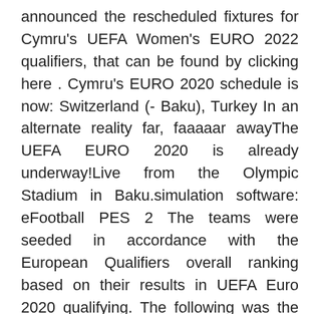announced the rescheduled fixtures for Cymru's UEFA Women's EURO 2022 qualifiers, that can be found by clicking here . Cymru's EURO 2020 schedule is now: Switzerland (- Baku), Turkey In an alternate reality far, faaaaar awayThe UEFA EURO 2020 is already underway!Live from the Olympic Stadium in Baku.simulation software: eFootball PES 2 The teams were seeded in accordance with the European Qualifiers overall ranking based on their results in UEFA Euro 2020 qualifying. The following was the standard composition of the draw pots: Pot 1: Group winners ranked 1–6; Pot 2: Group winners ranked 7–10, group runners-up ranked 1–2 (11–12 overall) Jun 10, 2021 · What TV channel is Turkey vs Italy on in the UK? BBC. Where can I stream Turkey vs Italy in the UK? This match can be streamed live on the BBC iPlayer and the BBC Sport website.